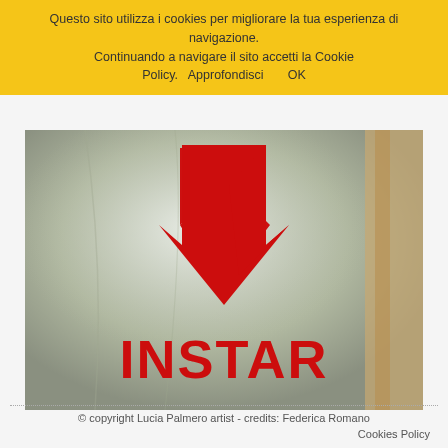Questo sito utilizza i cookies per migliorare la tua esperienza di navigazione. Continuando a navigare il sito accetti la Cookie Policy.  Approfondisci       OK
[Figure (photo): Photo of a white fabric or plastic bag with a large red lightning bolt / downward arrow logo and the word INSTAR printed in large red letters below it.]
© copyright Lucia Palmero artist - credits: Federica Romano
Cookies Policy